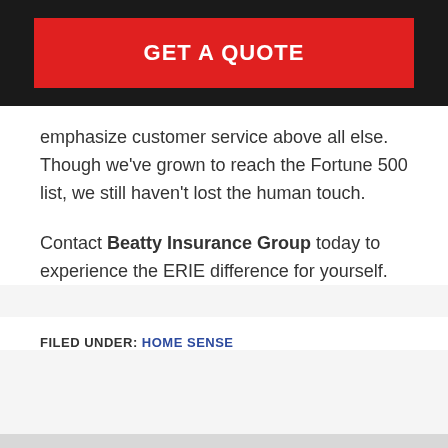[Figure (other): Red 'GET A QUOTE' button on dark background banner]
emphasize customer service above all else. Though we've grown to reach the Fortune 500 list, we still haven't lost the human touch.
Contact Beatty Insurance Group today to experience the ERIE difference for yourself.
FILED UNDER: HOME SENSE